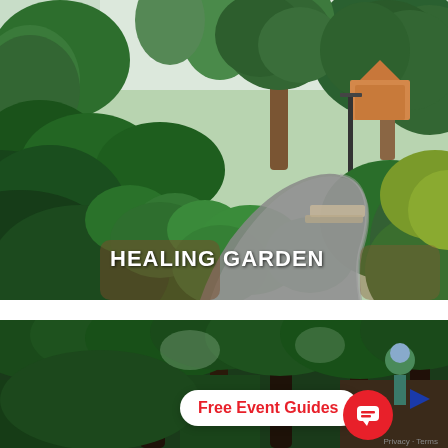[Figure (photo): Lush tropical garden path winding through dense green vegetation, shrubs, ferns and tall trees, with a small building visible in the background. White text overlay reads HEALING GARDEN at the bottom center of the image.]
[Figure (photo): Dense tropical rainforest scene with tall trees, thick canopy, and a wooden walkway/boardwalk. A person wearing a helmet is visible on the right. Overlays include a white pill-shaped badge reading 'Free Event Guides' in red, a red circular chat icon, a blue arrow, and a Privacy - Terms notice.]